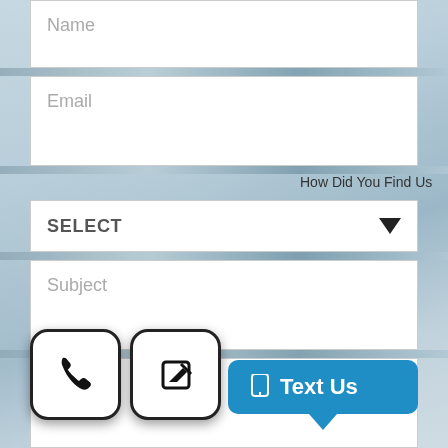[Figure (screenshot): Contact form UI with Name, Email, How Did You Find Us (select dropdown), Subject, and Message fields, plus phone button, edit button, and a blue Text Us button at the bottom.]
Name
Email
How Did You Find Us
SELECT
Subject
Message
Text Us